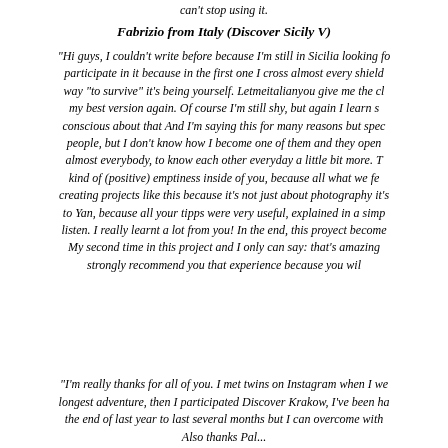can't stop using it.
Fabrizio from Italy (Discover Sicily V)
"Hi guys, I couldn't write before because I'm still in Sicilia looking fo... participate in it because in the first one I cross almost every shield... way "to survive" it's being yourself. Letmeitalianyou give me the ch... my best version again. Of course I'm still shy, but again I learn s... conscious about that And I'm saying this for many reasons but spec... people, but I don't know how I become one of them and they open... almost everybody, to know each other everyday a little bit more. T... kind of (positive) emptiness inside of you, because all what we fe... creating projects like this because it's not just about photography it's... to Yan, because all your tipps were very useful, explained in a simp... listen. I really learnt a lot from you! In the end, this proyect become... My second time in this project and I only can say: that's amazing... strongly recommend you that experience because you wil...
"I'm really thanks for all of you. I met twins on Instagram when I we... longest adventure, then I participated Discover Krakow, I've been ha... the end of last year to last several months but I can overcome with... Also thanks Pal...